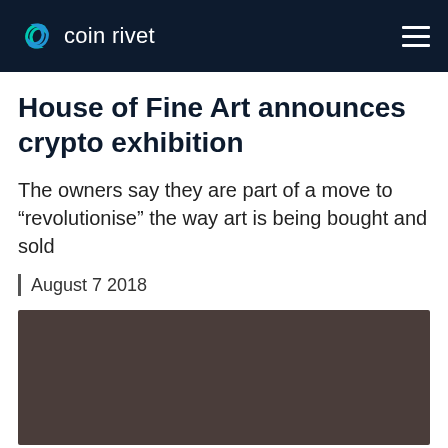coin rivet
House of Fine Art announces crypto exhibition
The owners say they are part of a move to “revolutionise” the way art is being bought and sold
| August 7 2018
[Figure (photo): Dark brownish-gray image placeholder for the article photo]